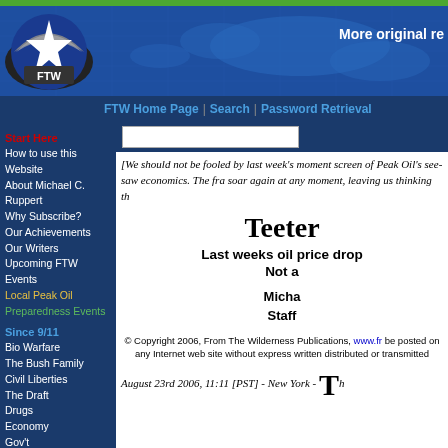More original re
FTW Home Page | Search | Password Retrieval
[Figure (logo): FTW logo - circular emblem with star and 'FTW' text on dark background]
[We should not be fooled by last week's moment screen of Peak Oil's see-saw economics. The fra soar again at any moment, leaving us thinking th
Teeter
Last weeks oil price drop
Not a
Micha
Staff
© Copyright 2006, From The Wilderness Publications, www.fr be posted on any Internet web site without express written distributed or transmitted
August 23rd 2006, 11:11 [PST] - New York - Th
Start Here
How to use this Website
About Michael C. Ruppert
Why Subscribe?
Our Achievements
Our Writers
Upcoming FTW Events
Local Peak Oil
Preparedness Events
Since 9/11
Bio Warfare
The Bush Family
Civil Liberties
The Draft
Drugs
Economy
Gov't Corrupt/Complicity
Insider Trading
Investigations
Post Peak Lifestyle
Oil & Energy